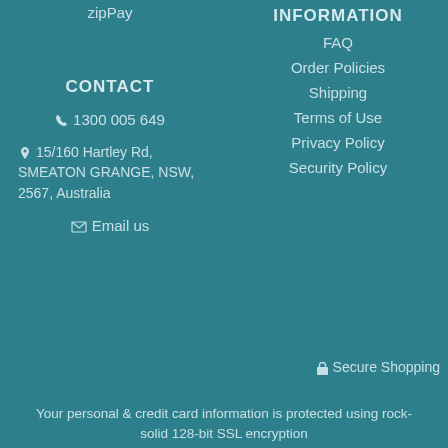zipPay
INFORMATION
FAQ
Order Policies
Shipping
Terms of Use
Privacy Policy
Security Policy
CONTACT
1300 005 649
15/160 Hartley Rd, SMEATON GRANGE, NSW, 2567, Australia
Email us
Secure Shopping
Your personal & credit card information is protected using rock-solid 128-bit SSL encryption